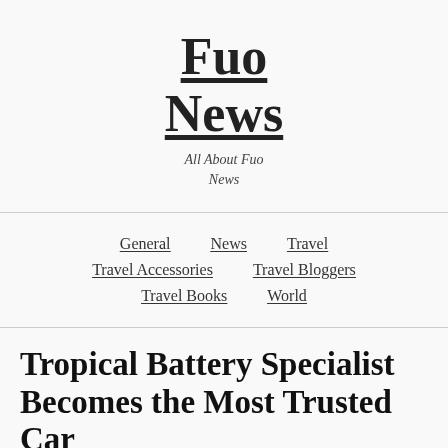Fuo News
All About Fuo News
General | News | Travel | Travel Accessories | Travel Bloggers | Travel Books | World
Tropical Battery Specialist Becomes the Most Trusted Car